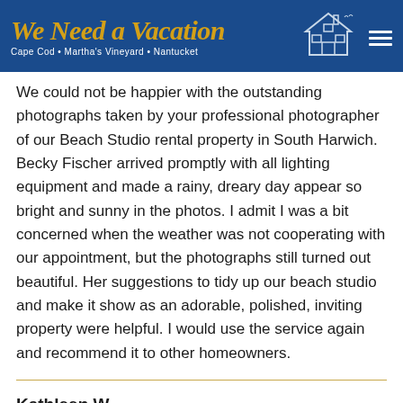We Need a Vacation — Cape Cod • Martha's Vineyard • Nantucket
We could not be happier with the outstanding photographs taken by your professional photographer of our Beach Studio rental property in South Harwich. Becky Fischer arrived promptly with all lighting equipment and made a rainy, dreary day appear so bright and sunny in the photos. I admit I was a bit concerned when the weather was not cooperating with our appointment, but the photographs still turned out beautiful. Her suggestions to tidy up our beach studio and make it show as an adorable, polished, inviting property were helpful. I would use the service again and recommend it to other homeowners.
Kathleen W.